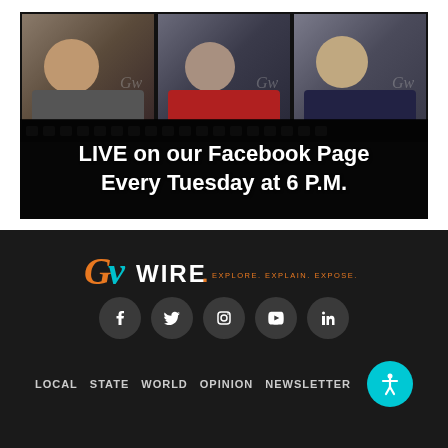[Figure (photo): Promotional image for GVWire Facebook Live show. Three portraits (men) against a film strip background at top. Bottom overlay text reads: LIVE on our Facebook Page Every Tuesday at 6 P.M.]
[Figure (logo): GVWire logo with tagline EXPLORE. EXPLAIN. EXPOSE. in orange and teal on dark background.]
[Figure (infographic): Social media icon row: Facebook, Twitter, Instagram, YouTube, LinkedIn — dark circular buttons on dark background.]
LOCAL   STATE   WORLD   OPINION   NEWSLETTER